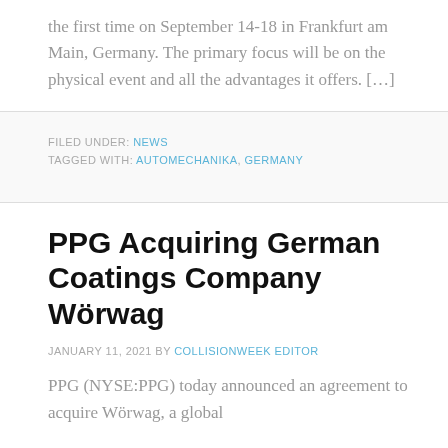the first time on September 14-18 in Frankfurt am Main, Germany. The primary focus will be on the physical event and all the advantages it offers. […]
FILED UNDER: NEWS
TAGGED WITH: AUTOMECHANIKA, GERMANY
PPG Acquiring German Coatings Company Wörwag
JANUARY 11, 2021 BY COLLISIONWEEK EDITOR
PPG (NYSE:PPG) today announced an agreement to acquire Wörwag, a global